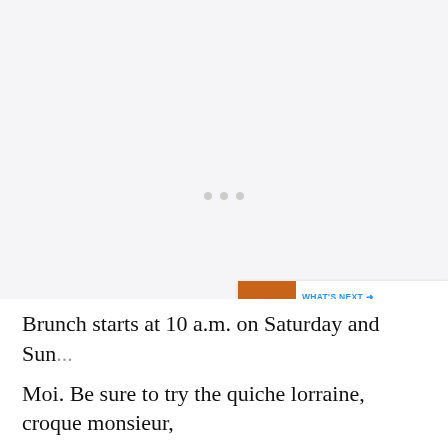[Figure (other): Large empty/loading area with three gray dots indicating a loading placeholder or video player area]
[Figure (other): Circular blue heart/favorite button on the right side]
[Figure (other): Circular white share button with share icon on the right side]
[Figure (other): What's Next promotional bar showing '7 Fast Food Restaurants...' with a food thumbnail image]
Brunch starts at 10 a.m. on Saturday and Sun... Moi. Be sure to try the quiche lorraine, croque monsieur,